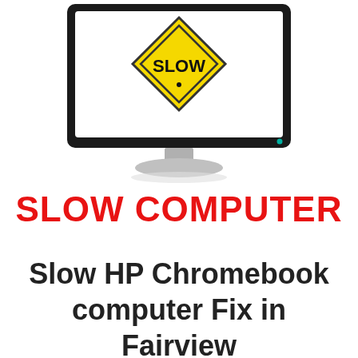[Figure (illustration): A desktop computer monitor with a black bezel and silver stand displaying a yellow diamond-shaped road sign with the word SLOW in black text on a white screen background.]
SLOW COMPUTER
Slow HP Chromebook computer Fix in Fairview